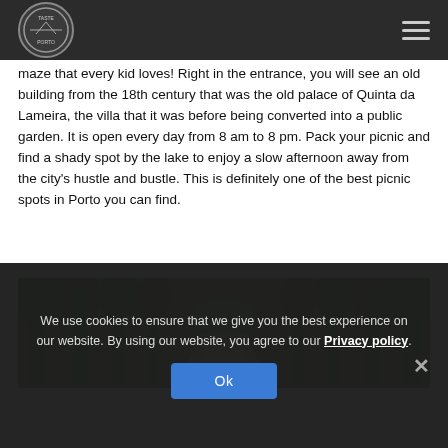Taste Porto (logo and navigation)
maze that every kid loves! Right in the entrance, you will see an old building from the 18th century that was the old palace of Quinta da Lameira, the villa that it was before being converted into a public garden. It is open every day from 8 am to 8 pm. Pack your picnic and find a shady spot by the lake to enjoy a slow afternoon away from the city's hustle and bustle. This is definitely one of the best picnic spots in Porto you can find.
[Figure (photo): A shaded park path lined with tall trees, sunlight filtering through green foliage, with benches visible in the background.]
We use cookies to ensure that we give you the best experience on our website. By using our website, you agree to our Privacy policy.
Ok